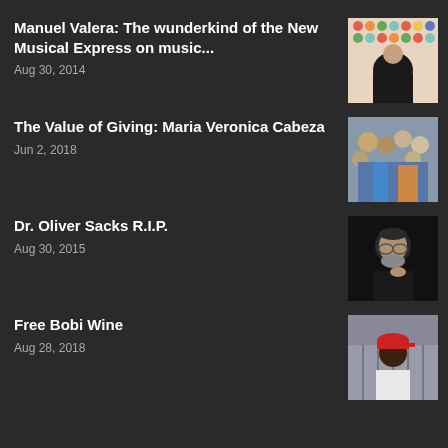Manuel Valera: The wunderkind of the New Musical Express on music...
Aug 30, 2014
[Figure (photo): Man with glasses and beard sitting cross-armed in front of colorful dotted background]
The Value of Giving: Maria Veronica Cabeza
Jun 2, 2018
[Figure (photo): Group of children and young people smiling outdoors]
Dr. Oliver Sacks R.I.P.
Aug 30, 2015
[Figure (photo): Elderly bald man with glasses in dark background]
Free Bobi Wine
Aug 28, 2018
[Figure (photo): Young man wearing a red cap against a grey background]